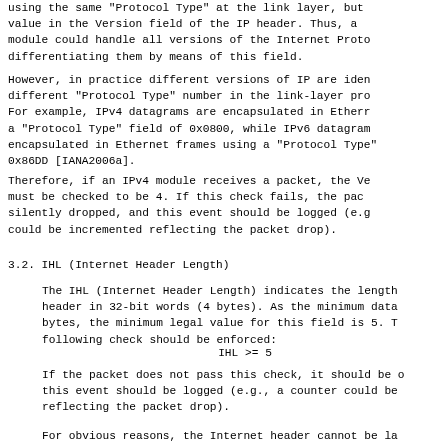using the same "Protocol Type" at the link layer, but value in the Version field of the IP header. Thus, a module could handle all versions of the Internet Proto differentiating them by means of this field.
However, in practice different versions of IP are iden different "Protocol Type" number in the link-layer pro For example, IPv4 datagrams are encapsulated in Etherr a "Protocol Type" field of 0x0800, while IPv6 datagram encapsulated in Ethernet frames using a "Protocol Type" 0x86DD [IANA2006a].
Therefore, if an IPv4 module receives a packet, the Ve must be checked to be 4. If this check fails, the pac silently dropped, and this event should be logged (e.g could be incremented reflecting the packet drop).
3.2.  IHL (Internet Header Length)
The IHL (Internet Header Length) indicates the length header in 32-bit words (4 bytes). As the minimum data bytes, the minimum legal value for this field is 5. T following check should be enforced:
If the packet does not pass this check, it should be c this event should be logged (e.g., a counter could be reflecting the packet drop).
For obvious reasons, the Internet header cannot be la